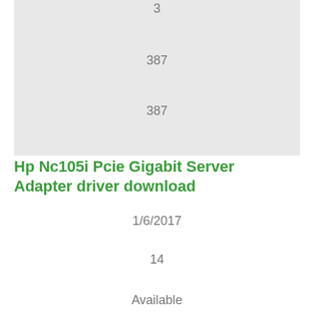3
387
387
Hp Nc105i Pcie Gigabit Server Adapter driver download
1/6/2017
14
Available